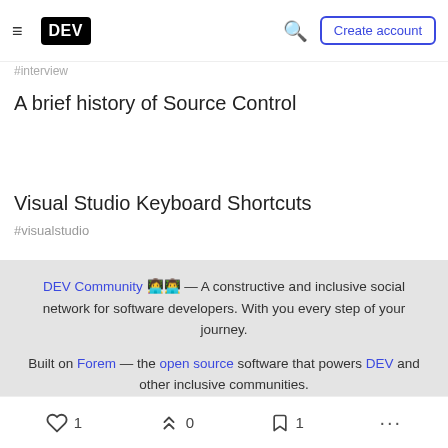DEV | Create account
#interview
A brief history of Source Control
Visual Studio Keyboard Shortcuts
#visualstudio
DEV Community 👩‍💻👨‍💻 — A constructive and inclusive social network for software developers. With you every step of your journey.
Built on Forem — the open source software that powers DEV and other inclusive communities.
Made with love and Ruby on Rails. DEV Community 👩‍💻👨‍💻 © 2016 - 2022
♡ 1   〰 0   🔖 1   ...